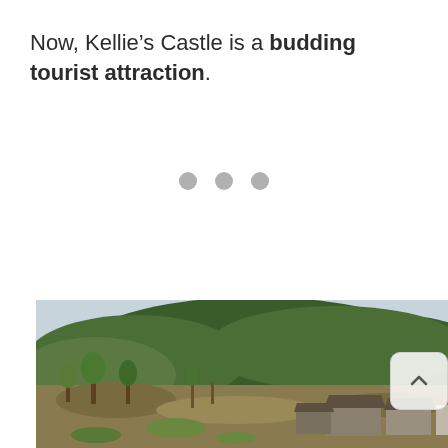Now, Kellie's Castle is a budding tourist attraction.
[Figure (other): Three grey dots arranged horizontally, likely a loading indicator or page navigation dots]
[Figure (photo): Aerial or elevated view of a tropical landscape with lush green forested hills in the background, open cleared land with sparse trees in the foreground, and low buildings with thatched or dark roofs visible on the right side. Sky is pale blue-grey.]